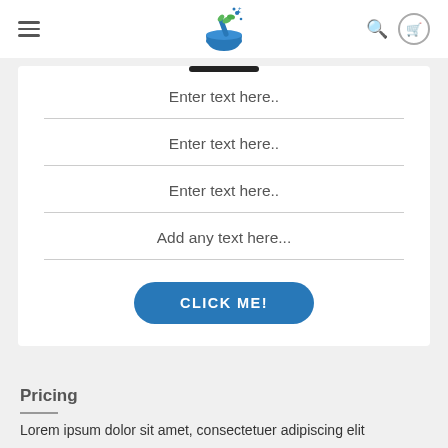[Figure (logo): Pharmacy/herbal mortar and pestle logo with blue bowl and green herbs with sparkles]
Enter text here..
Enter text here..
Enter text here..
Add any text here...
CLICK ME!
Pricing
Lorem ipsum dolor sit amet, consectetuer adipiscing elit